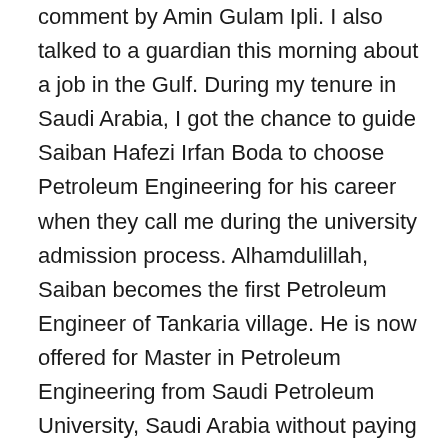comment by Amin Gulam Ipli. I also talked to a guardian this morning about a job in the Gulf. During my tenure in Saudi Arabia, I got the chance to guide Saiban Hafezi Irfan Boda to choose Petroleum Engineering for his career when they call me during the university admission process. Alhamdulillah, Saiban becomes the first Petroleum Engineer of Tankaria village. He is now offered for Master in Petroleum Engineering from Saudi Petroleum University, Saudi Arabia without paying any fee. Not only that, he is eligible for the scholarship, free air tickets, free food (best of its kind), free accommodation, and many other benefits. Insha'Allah, after completion of his Master's degree he will get a very good job in the Gulf. Such good opportunities (free) for students